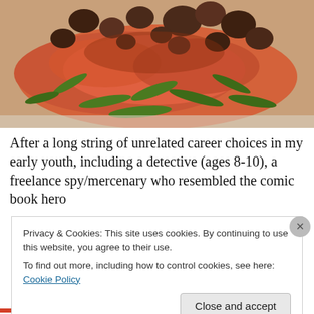[Figure (photo): Close-up photo of cooked salmon fillet topped with sautéed mushrooms and fresh green arugula leaves on a light surface]
After a long string of unrelated career choices in my early youth, including a detective (ages 8-10), a freelance spy/mercenary who resembled the comic book hero
Privacy & Cookies: This site uses cookies. By continuing to use this website, you agree to their use.
To find out more, including how to control cookies, see here: Cookie Policy